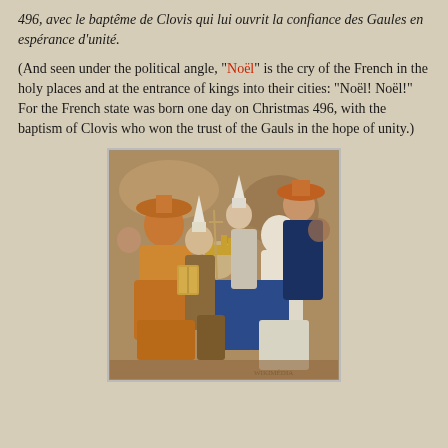496, avec le baptême de Clovis qui lui ouvrit la confiance des Gaules en espérance d'unité.
(And seen under the political angle, "Noël" is the cry of the French in the holy places and at the entrance of kings into their cities: "Noël! Noël!" For the French state was born one day on Christmas 496, with the baptism of Clovis who won the trust of the Gauls in the hope of unity.)
[Figure (illustration): Medieval illumination depicting the baptism of Clovis, showing robed figures including bishops in pointed mitres and a central figure wearing a crown, rendered in orange, blue, and white tones.]